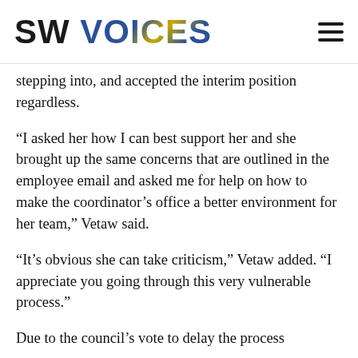SW VOICES
stepping into, and accepted the interim position regardless.
“I asked her how I can best support her and she brought up the same concerns that are outlined in the employee email and asked me for help on how to make the coordinator’s office a better environment for her team,” Vetaw said.
“It’s obvious she can take criticism,” Vetaw added. “I appreciate you going through this very vulnerable process.”
Due to the council’s vote to delay the process